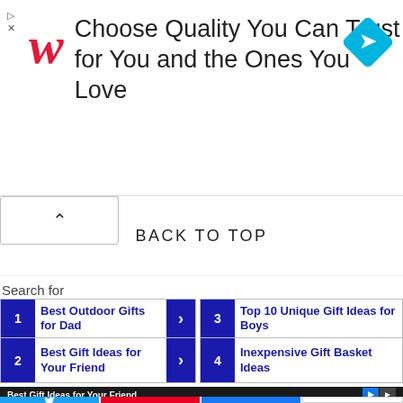[Figure (screenshot): Walgreens advertisement banner with red italic W logo, text 'Choose Quality You Can Trust for You and the Ones You Love', and a blue diamond direction icon on the right]
BACK TO TOP
Search for
1  Best Outdoor Gifts for Dad
2  Best Gift Ideas for Your Friend
3  Top 10 Unique Gift Ideas for Boys
4  Inexpensive Gift Basket Ideas
About me · Blog · Privacy Policy · Disclaimer · Contact
Best Gift Ideas for Your Friend
[Figure (screenshot): Social share bar with Twitter, Pinterest (1K), Facebook (1), and share (<1K SHARES) buttons]